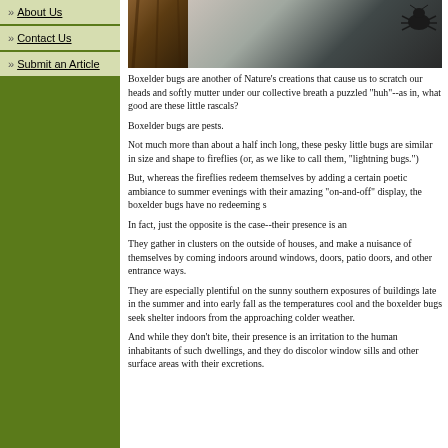» About Us
» Contact Us
» Submit an Article
[Figure (photo): Photo strip showing close-up of bark/wood on left and a bug/beetle on the right against a mottled background]
Boxelder bugs are another of Nature's creations that cause us to scratch our heads and softly mutter under our collective breath a puzzled "huh"--as in, what good are these little rascals?
Boxelder bugs are pests.
Not much more than about a half inch long, these pesky little bugs are similar in size and shape to fireflies (or, as we like to call them, "lightning bugs.")
But, whereas the fireflies redeem themselves by adding a certain poetic ambiance to summer evenings with their amazing "on-and-off" display, the boxelder bugs have no redeeming s
In fact, just the opposite is the case--their presence is an
They gather in clusters on the outside of houses, and make a nuisance of themselves by coming indoors around windows, doors, patio doors, and other entrance ways.
They are especially plentiful on the sunny southern exposures of buildings late in the summer and into early fall as the temperatures cool and the boxelder bugs seek shelter indoors from the approaching colder weather.
And while they don't bite, their presence is an irritation to the human inhabitants of such dwellings, and they do discolor window sills and other surface areas with their excretions.